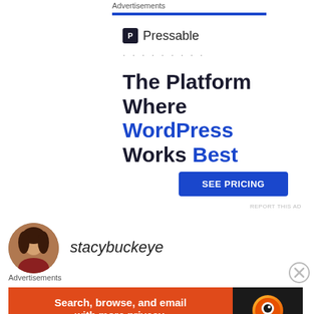Advertisements
[Figure (infographic): Pressable advertisement banner: logo with icon, dots, tagline 'The Platform Where WordPress Works Best', blue 'SEE PRICING' button]
REPORT THIS AD
stacybuckeye
Advertisements
[Figure (infographic): DuckDuckGo advertisement: orange background with text 'Search, browse, and email with more privacy. All in One Free App' and DuckDuckGo logo on dark background]